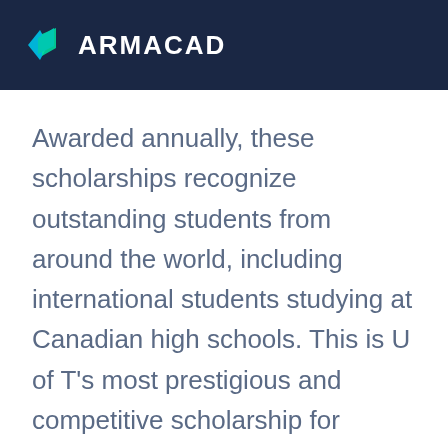[Figure (logo): ARMACAD logo with a teal/blue diamond-shaped chevron icon followed by the text ARMACAD in white on a dark navy background]
Awarded annually, these scholarships recognize outstanding students from around the world, including international students studying at Canadian high schools. This is U of T's most prestigious and competitive scholarship for international students. The Lester B. Pearson International Scholarships will cover tuition, books, incidental fees, and full residence support for four years. The